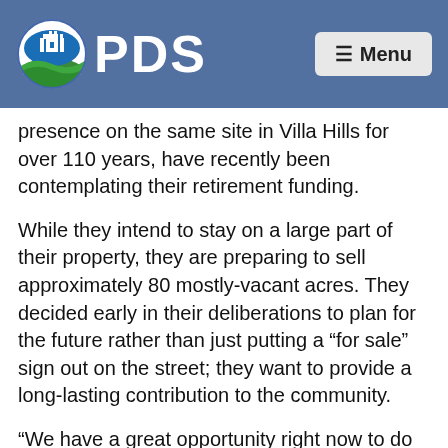PDS Menu
presence on the same site in Villa Hills for over 110 years, have recently been contemplating their retirement funding.
While they intend to stay on a large part of their property, they are preparing to sell approximately 80 mostly-vacant acres. They decided early in their deliberations to plan for the future rather than just putting a “for sale” sign out on the street; they want to provide a long-lasting contribution to the community.
“We have a great opportunity right now to do something special for the city and its residents,” explained Sr. Mary Catherine Wenstrup, Prioress of St. Walburg Monastery. “While selling a portion of our property is going to fund our retirement, we want to do so in a way that is beneficial to the city and our neighbors. After all, we’re staying here so